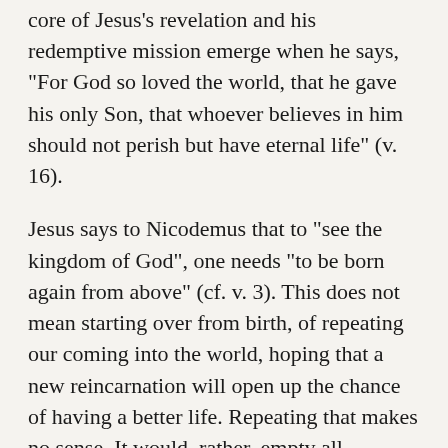core of Jesus's revelation and his redemptive mission emerge when he says, “For God so loved the world, that he gave his only Son, that whoever believes in him should not perish but have eternal life” (v. 16).
Jesus says to Nicodemus that to “see the kingdom of God”, one needs “to be born again from above” (cf. v. 3). This does not mean starting over from birth, of repeating our coming into the world, hoping that a new reincarnation will open up the chance of having a better life. Repeating that makes no sense. It would, rather, empty all meaning out of the life we have lived, erasing it as if it were a failed experiment, a value that has expired, a wasted void. No, that’s not what this is, this being born again that Jesus speaks of. It is something else. This life is precious in God’s eyes –